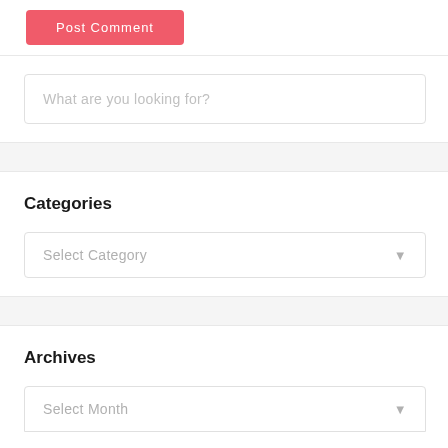Post Comment
What are you looking for?
Categories
Select Category
Archives
Select Month